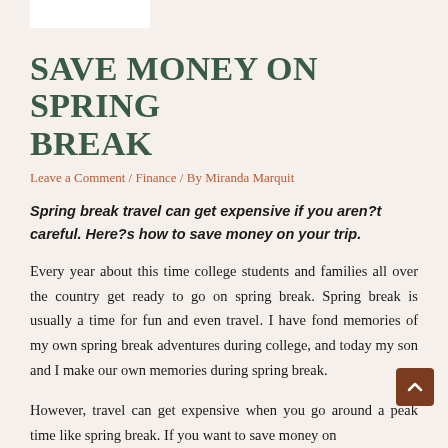SAVE MONEY ON SPRING BREAK
Leave a Comment / Finance / By Miranda Marquit
Spring break travel can get expensive if you aren?t careful. Here?s how to save money on your trip.
Every year about this time college students and families all over the country get ready to go on spring break. Spring break is usually a time for fun and even travel. I have fond memories of my own spring break adventures during college, and today my son and I make our own memories during spring break.
However, travel can get expensive when you go around a peak time like spring break. If you want to save money on